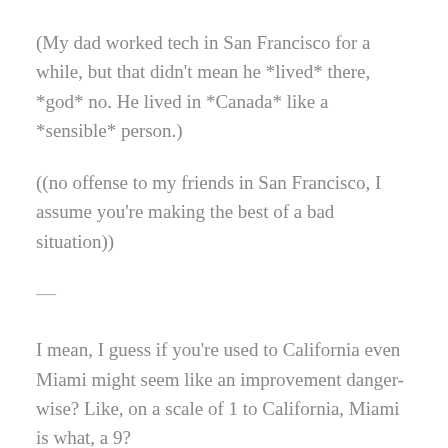(My dad worked tech in San Francisco for a while, but that didn't mean he *lived* there, *god* no. He lived in *Canada* like a *sensible* person.)
((no offense to my friends in San Francisco, I assume you're making the best of a bad situation))
—
I mean, I guess if you're used to California even Miami might seem like an improvement danger-wise? Like, on a scale of 1 to California, Miami is what, a 9?
"Arranging for rich people to live in incredibly disaster-prone environments" doesn't sound like an